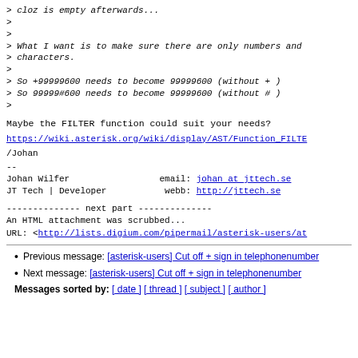> cloz is empty afterwards...
>
>
> What I want is to make sure there are only numbers and
> characters.
>
> So +99999600 needs to become 99999600 (without + )
> So 99999#600 needs to become 99999600 (without # )
>
Maybe the FILTER function could suit your needs?
https://wiki.asterisk.org/wiki/display/AST/Function_FILTE
/Johan
--
Johan Wilfer                    email: johan at jttech.se
JT Tech | Developer              webb: http://jttech.se
-------------- next part --------------
An HTML attachment was scrubbed...
URL: <http://lists.digium.com/pipermail/asterisk-users/at
Previous message: [asterisk-users] Cut off + sign in telephonenumber
Next message: [asterisk-users] Cut off + sign in telephonenumber
Messages sorted by: [ date ] [ thread ] [ subject ] [ author ]